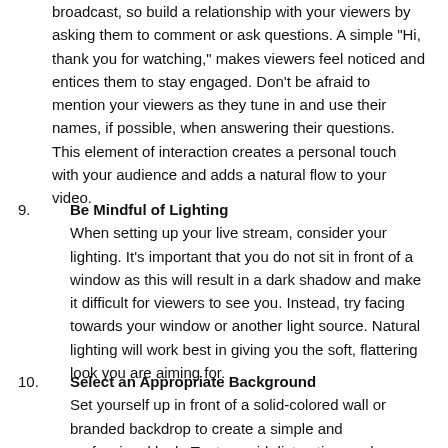broadcast, so build a relationship with your viewers by asking them to comment or ask questions. A simple "Hi, thank you for watching," makes viewers feel noticed and entices them to stay engaged. Don't be afraid to mention your viewers as they tune in and use their names, if possible, when answering their questions. This element of interaction creates a personal touch with your audience and adds a natural flow to your video.
9. Be Mindful of Lighting
When setting up your live stream, consider your lighting. It's important that you do not sit in front of a window as this will result in a dark shadow and make it difficult for viewers to see you. Instead, try facing towards your window or another light source. Natural lighting will work best in giving you the soft, flattering look you are aiming for.
10. Select an Appropriate Background
Set yourself up in front of a solid-colored wall or branded backdrop to create a simple and professional look. Try to avoid distractions or busy backgrounds. Remember you